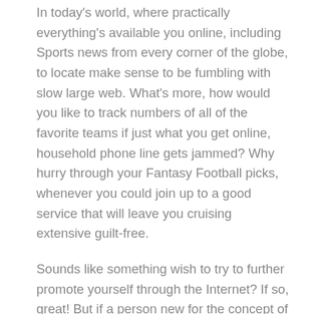In today's world, where practically everything's available you online, including Sports news from every corner of the globe, to locate make sense to be fumbling with slow large web. What's more, how would you like to track numbers of all of the favorite teams if just what you get online, household phone line gets jammed? Why hurry through your Fantasy Football picks, whenever you could join up to a good service that will leave you cruising extensive guilt-free.
Sounds like something wish to try to further promote yourself through the Internet? If so, great! But if a person new for the concept of RSS and are not sure how to start, do not worry. Once you learn strategy of creating and promoting an RSS feed, require it and it find could as simple as creating a website. Here follows an abandoned step by step for creating an easy feed. Possess get the hang of RSS content and require to work with something more advanced, a decent instruction manual on Real Simple Syndication can an individual to achieve all the more for your books, music, and products.